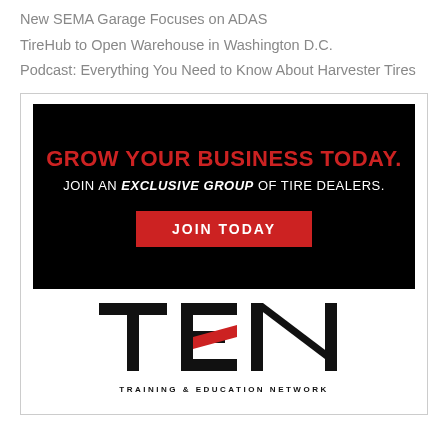New SEMA Garage Focuses on ADAS
TireHub to Open Warehouse in Washington D.C.
Podcast: Everything You Need to Know About Harvester Tires
[Figure (advertisement): Advertisement banner with black background. Text: GROW YOUR BUSINESS TODAY. JOIN AN EXCLUSIVE GROUP OF TIRE DEALERS. JOIN TODAY button. TEN Training & Education Network logo below.]